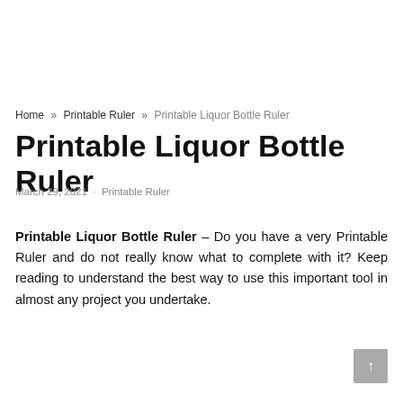Home » Printable Ruler » Printable Liquor Bottle Ruler
Printable Liquor Bottle Ruler
March 29, 2021  ·  Printable Ruler
Printable Liquor Bottle Ruler – Do you have a very Printable Ruler and do not really know what to complete with it? Keep reading to understand the best way to use this important tool in almost any project you undertake.